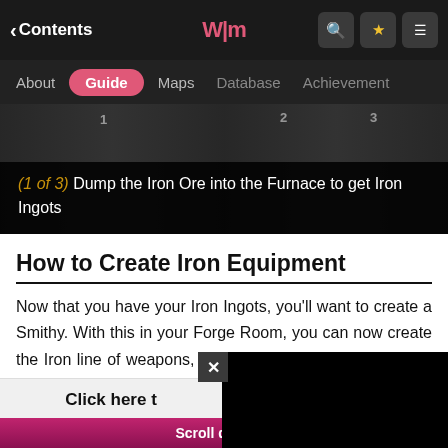< Contents [logo] [search] [star] [menu]
About | Guide | Maps | Database | Achievements
[Figure (screenshot): Game screenshot banner with step overlay showing '(1 of 3) Dump the Iron Ore into the Furnace to get Iron Ingots']
(1 of 3) Dump the Iron Ore into the Furnace to get Iron Ingots
How to Create Iron Equipment
Now that you have your Iron Ingots, you'll want to create a Smithy. With this in your Forge Room, you can now create the Iron line of weapons, these will not only increase your Gear Level, [obscured by ad overlay] weapon ability, used with [obscured]
Click here t[o]
Scroll down